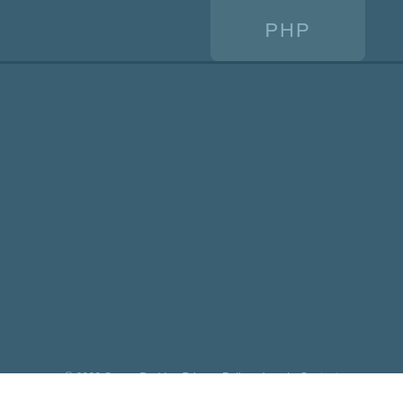PHP
© 2022 SourceDaddy - Privacy Policy - Legal - Contact